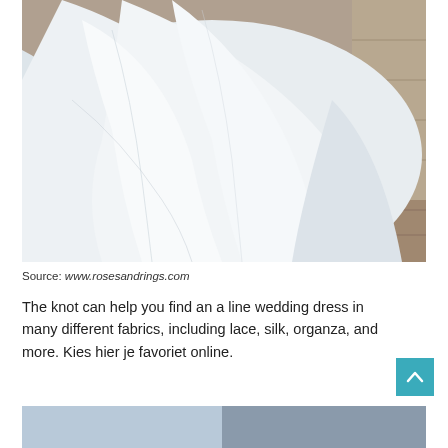[Figure (photo): Close-up photo of a white wedding dress with flowing fabric train on stone pavement, stone wall in background]
Source: www.rosesandrings.com
The knot can help you find an a line wedding dress in many different fabrics, including lace, silk, organza, and more. Kies hier je favoriet online.
[Figure (photo): Partial bottom strip showing another wedding photo, cut off at bottom of page]